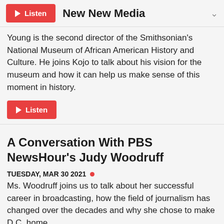New New Media
Young is the second director of the Smithsonian's National Museum of African American History and Culture. He joins Kojo to talk about his vision for the museum and how it can help us make sense of this moment in history.
A Conversation With PBS NewsHour’s Judy Woodruff
TUESDAY, MAR 30 2021 • Ms. Woodruff joins us to talk about her successful career in broadcasting, how the field of journalism has changed over the decades and why she chose to make D.C. home.